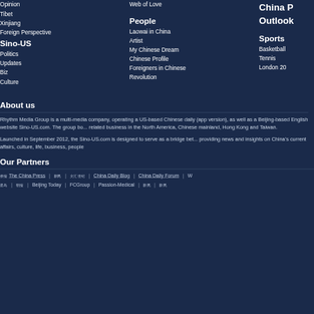Opinion
Tibet
Xinjiang
Foreign Perspective
Sino-US
Politics
Updates
Biz
Culture
Web of Love
People
Laowai in China
Artist
My Chinese Dream
Chinese Profile
Foreigners in Chinese Revolution
China P... Outlook...
Sports
Basketball
Tennis
London 20...
About us
Rhythm Media Group is a multi-media company, operating a US-based Chinese daily (app version), as well as a Beijing-based English website Sino-US.com. The group bo... related business in the North America, Chinese mainland, Hong Kong and Taiwan.
Launched in September 2012, the Sino-US.com is designed to serve as a bridge bet... providing news and insights on China's current affairs, culture, life, business, people
Our Partners
侨报 The China Press | 新民 | 文汇世纪 | China Daily Blog | China Daily Forum | W... 星岛 | 明报 | Beijing Today | FCGroup | Passion-Medical | 新民 | 新民